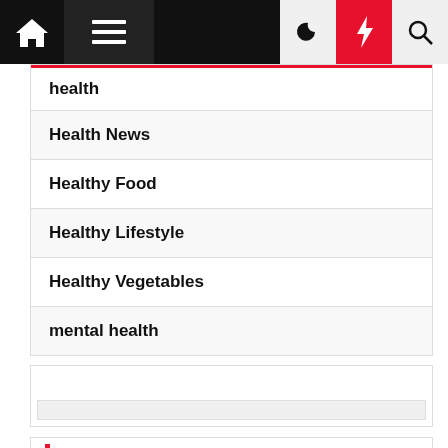Navigation bar with home, menu, moon, bolt, and search icons
health
Health News
Healthy Food
Healthy Lifestyle
Healthy Vegetables
mental health
[Figure (other): Empty widget/advertisement box with a light gray bar at the bottom]
Archives